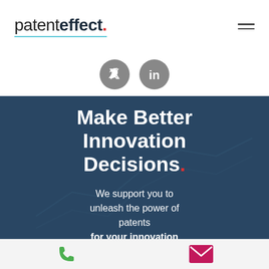[Figure (logo): patenteffect. logo with light blue underline and red dot, hamburger menu icon to the right]
[Figure (infographic): Two grey circular social media icons: Twitter bird icon and LinkedIn 'in' icon]
[Figure (photo): Dark blue-overlay hero image with a person working at desk and patent/chart graphics in background]
Make Better Innovation Decisions.
We support you to unleash the power of patents for your innovation
[Figure (infographic): Bottom bar with green phone icon on left and pink/magenta envelope icon on right]